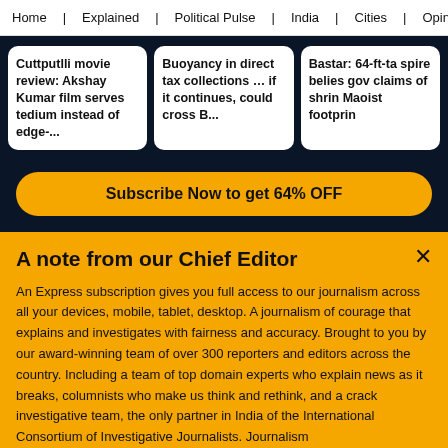Home | Explained | Political Pulse | India | Cities | Opinion | Entertainment
Cuttputlli movie review: Akshay Kumar film serves tedium instead of edge-...
Buoyancy in direct tax collections … if it continues, could cross B...
Bastar: 64-ft-ta spire belies gov claims of shrin Maoist footprin
Subscribe Now to get 64% OFF
A note from our Chief Editor
An Express subscription gives you full access to our journalism across all your devices, mobile, tablet, desktop. A journalism of courage that explains and investigates with fairness and accuracy. Brought to you by our award-winning team of over 300 reporters and editors across the country. Including a team of top domain experts who explain news as it breaks, columnists who make us think and rethink, and a crack investigative team, the only partner in India of the International Consortium of Investigative Journalists. Journalism